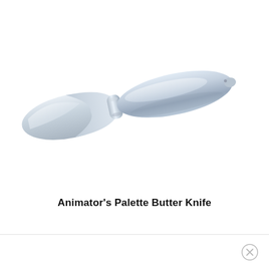[Figure (photo): A silver/chrome Animator's Palette Butter Knife with a curved blade on the left and an elongated teardrop-shaped handle on the right, photographed on a white background.]
Animator's Palette Butter Knife
× (close button icon)